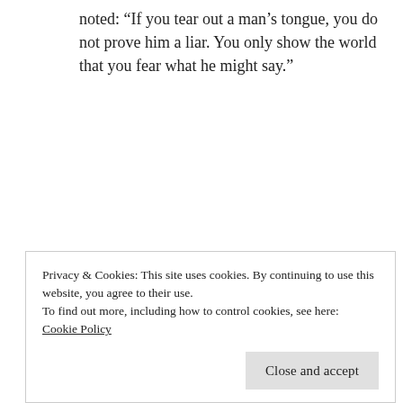noted: “If you tear out a man’s tongue, you do not prove him a liar. You only show the world that you fear what he might say.”
★ Like
Reply
Snorri Godhi
Privacy & Cookies: This site uses cookies. By continuing to use this website, you agree to their use.
To find out more, including how to control cookies, see here:
Cookie Policy
Close and accept